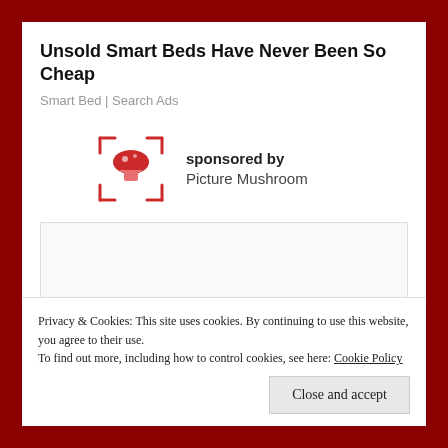Unsold Smart Beds Have Never Been So Cheap
Smart Bed | Search Ads
[Figure (logo): Picture Mushroom app logo: a red mushroom icon inside a red bracket/corner frame on white background]
sponsored by
Picture Mushroom
[Figure (other): Advertisement image placeholder (white/light gray box)]
Privacy & Cookies: This site uses cookies. By continuing to use this website, you agree to their use.
To find out more, including how to control cookies, see here: Cookie Policy
Close and accept